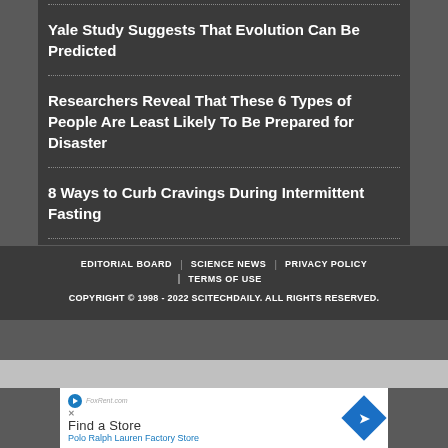Yale Study Suggests That Evolution Can Be Predicted
Researchers Reveal That These 6 Types of People Are Least Likely To Be Prepared for Disaster
8 Ways to Curb Cravings During Intermittent Fasting
EDITORIAL BOARD | SCIENCE NEWS | PRIVACY POLICY | TERMS OF USE
COPYRIGHT © 1998 - 2022 SCITECHDAILY. ALL RIGHTS RESERVED.
[Figure (other): Advertisement banner: FoxRent.com logo with play icon and X close button, 'Find a Store' text, 'Polo Ralph Lauren Factory Store' blue text, and a blue diamond-shaped map pin icon]